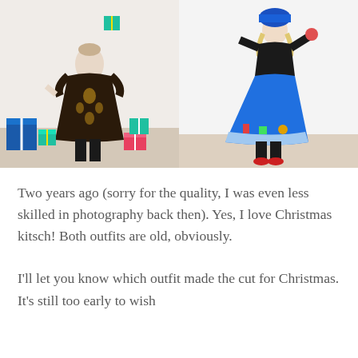[Figure (photo): Two side-by-side photos of women in Christmas outfits. Left photo: woman in a dark ornate patterned dress with black tights and heels, surrounded by colorful illustrated gift boxes. Right photo: woman in a blue Christmas-themed skirt and black top with red shoes, holding a prop and wearing a blue hat.]
Two years ago (sorry for the quality, I was even less skilled in photography back then). Yes, I love Christmas kitsch! Both outfits are old, obviously.
I'll let you know which outfit made the cut for Christmas. It's still too early to wish